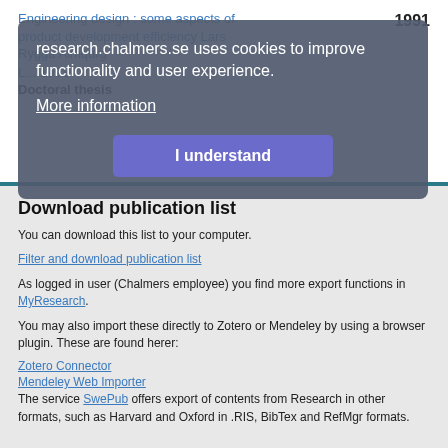Engineering design : some aspects of product development efficiency Lars Rygga Almqurg
1991
Doctoral thesis
research.chalmers.se uses cookies to improve functionality and user experience.
More information
Download publication list
You can download this list to your computer.
Filter and download publication list
As logged in user (Chalmers employee) you find more export functions in MyResearch.
You may also import these directly to Zotero or Mendeley by using a browser plugin. These are found herer:
Zotero Connector
Mendeley Web Importer
The service SwePub offers export of contents from Research in other formats, such as Harvard and Oxford in .RIS, BibTex and RefMgr formats.